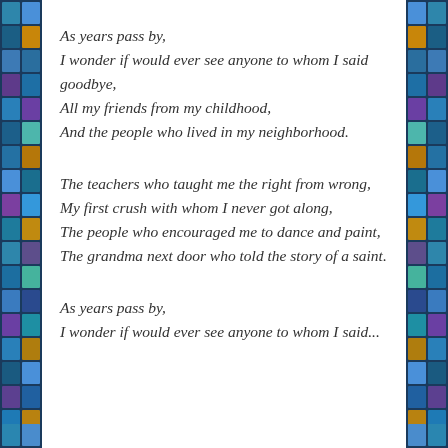As years pass by,
I wonder if would ever see anyone to whom I said goodbye,
All my friends from my childhood,
And the people who lived in my neighborhood.
The teachers who taught me the right from wrong,
My first crush with whom I never got along,
The people who encouraged me to dance and paint,
The grandma next door who told the story of a saint.
As years pass by,
I wonder if would ever see anyone to whom I said...